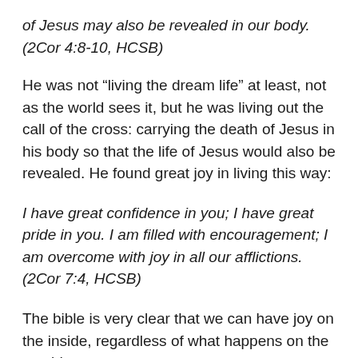of Jesus may also be revealed in our body. (2Cor 4:8-10, HCSB)
He was not “living the dream life” at least, not as the world sees it, but he was living out the call of the cross: carrying the death of Jesus in his body so that the life of Jesus would also be revealed. He found great joy in living this way:
I have great confidence in you; I have great pride in you. I am filled with encouragement; I am overcome with joy in all our afflictions. (2Cor 7:4, HCSB)
The bible is very clear that we can have joy on the inside, regardless of what happens on the outside:
Consider it a great joy, my brothers, whenever you experience various trials, knowing that the testing of your